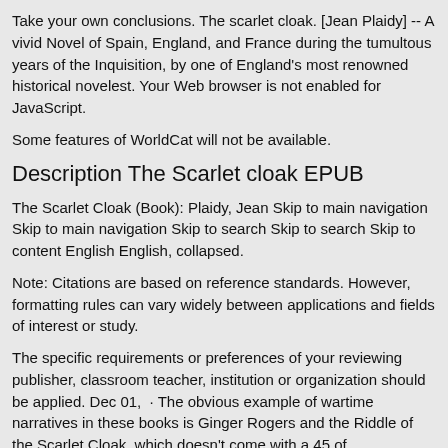Take your own conclusions. The scarlet cloak. [Jean Plaidy] -- A vivid Novel of Spain, England, and France during the tumultous years of the Inquisition, by one of England's most renowned historical novelest. Your Web browser is not enabled for JavaScript.
Some features of WorldCat will not be available.
Description The Scarlet cloak EPUB
The Scarlet Cloak (Book): Plaidy, Jean Skip to main navigation Skip to main navigation Skip to search Skip to search Skip to content English English, collapsed.
Note: Citations are based on reference standards. However, formatting rules can vary widely between applications and fields of interest or study.
The specific requirements or preferences of your reviewing publisher, classroom teacher, institution or organization should be applied. Dec 01,  · The obvious example of wartime narratives in these books is Ginger Rogers and the Riddle of the Scarlet Cloak, which doesn't come with a 45 of.
The sketch might, perhaps, have been wholly omitted, without